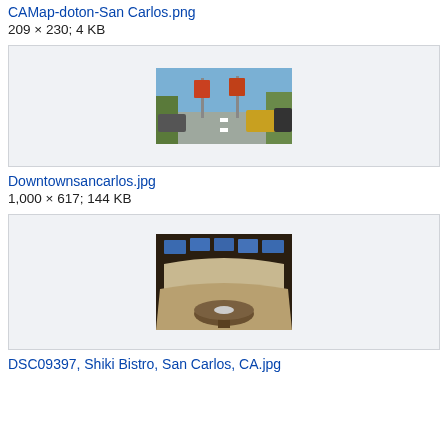CAMap-doton-San Carlos.png
209 × 230; 4 KB
[Figure (photo): Street view of downtown San Carlos with orange banners on light poles, vehicles on road, trees visible]
Downtownsancarlos.jpg
1,000 × 617; 144 KB
[Figure (photo): Interior of Shiki Bistro restaurant showing a round booth with beige upholstery, round table, and TV screens on wall]
DSC09397, Shiki Bistro, San Carlos, CA.jpg